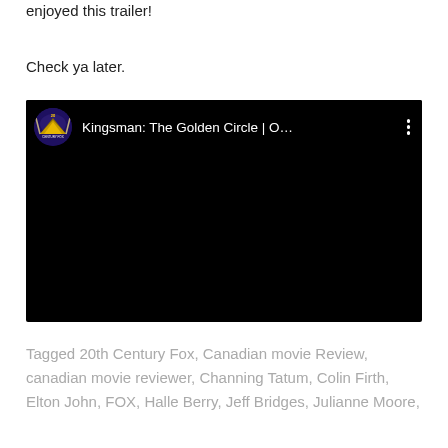enjoyed this trailer!
Check ya later.
[Figure (screenshot): Embedded YouTube video player showing Kingsman: The Golden Circle trailer with 20th Century Fox channel icon, black video area, and three-dot menu icon.]
Tagged 20th Century Fox, Canadian movie Review, canadian movie reviewer, Channing Tatum, Colin Firth, Elton John, FOX, Halle Berry, Jeff Bridges, Julianne Moore,